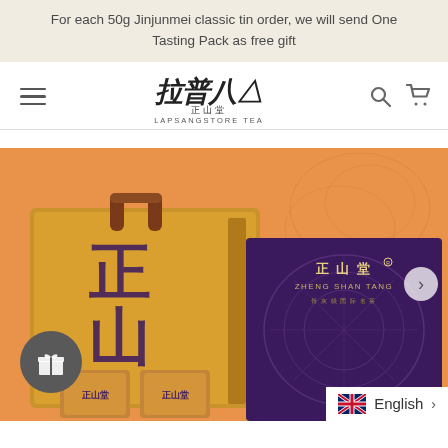For each 50g Jinjunmei classic tin order, we will send One Tasting Pack as free gift
[Figure (logo): Lapsangstore Tea logo with Chinese calligraphy characters and text 'LAPSANGSTORE TEA']
[Figure (photo): Product photo showing Zheng Shan Tang tea gift boxes on orange background — a yellow cardboard gift box with leather handle and a purple box with floral design and 'ZHENG SHAN TANG' branding, with small tea tin samples in front]